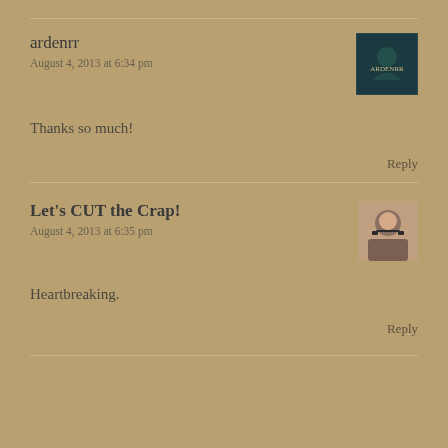ardenrr
August 4, 2013 at 6:34 pm
Thanks so much!
Reply
Let's CUT the Crap!
August 4, 2013 at 6:35 pm
Heartbreaking.
Reply